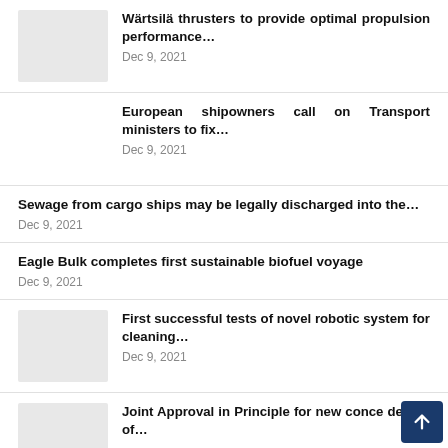[Figure (photo): Gray placeholder image thumbnail]
Wärtsilä thrusters to provide optimal propulsion performance…
Dec 9, 2021
European shipowners call on Transport ministers to fix…
Dec 9, 2021
Sewage from cargo ships may be legally discharged into the…
Dec 9, 2021
Eagle Bulk completes first sustainable biofuel voyage
Dec 9, 2021
[Figure (photo): Gray placeholder image thumbnail]
First successful tests of novel robotic system for cleaning…
Dec 9, 2021
[Figure (photo): Gray placeholder image thumbnail]
Joint Approval in Principle for new conce design of…
Dec 9, 2021